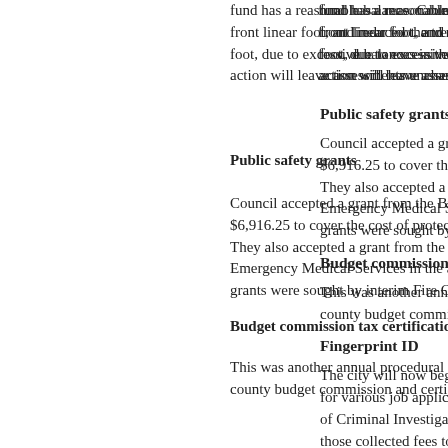fund has a reasonable balance. Counc front linear foot, and reduced the tree f foot, due to excessive balances in the t action will leave assessments unchange
Public safety grants
Council accepted a grant from the Bure $6,916.25 to cover the cost of protectiv They also accepted a grant from the O Emergency Medical Services in the am grants were sought by interim Fire Chie
Budget commission tax certification
This was another annual procedural ite county budget commission and certifyi
Fingerprint ID
The city will now begin offering fingerpr for various job applications. A portion o of Criminal Investigation and the Feder those collected fees to be set aside pri Ohio State Auditor's website as an ava
Vehicle purchases